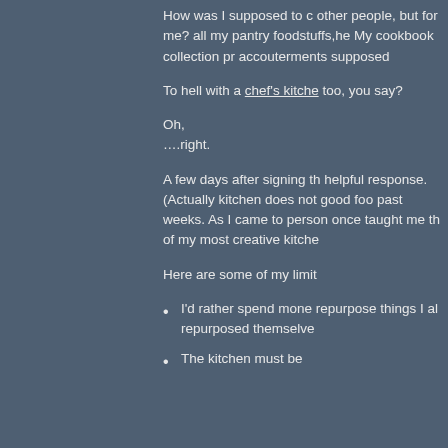How was I supposed to cook for other people, but for me? all my pantry foodstuffs,he My cookbook collection pr accouterments supposed
To hell with a chef's kitche too, you say?
Oh,
….right.
A few days after signing th helpful response. (Actually kitchen does not good foo past weeks. As I came to person once taught me th of my most creative kitche
Here are some of my limit
I'd rather spend mone repurpose things I al repurposed themselve
The kitchen must be